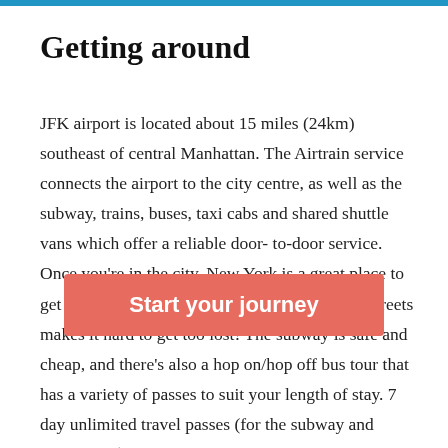Getting around
JFK airport is located about 15 miles (24km) southeast of central Manhattan. The Airtrain service connects the airport to the city centre, as well as the subway, trains, buses, taxi cabs and shared shuttle vans which offer a reliable door-to-door service. Once you're in the city, New York is a great place to get up and walk around and the grid system of streets makes it hard to get too lost! The subway is safe and cheap, and there's also a hop on/hop off bus tour that has a variety of passes to suit your length of stay. 7 day unlimited travel passes (for the subway and buses) are $30 and can be bought in sta... is $2.75. Buses and taxis are a bit complex with traffic jams at peak
Start your journey